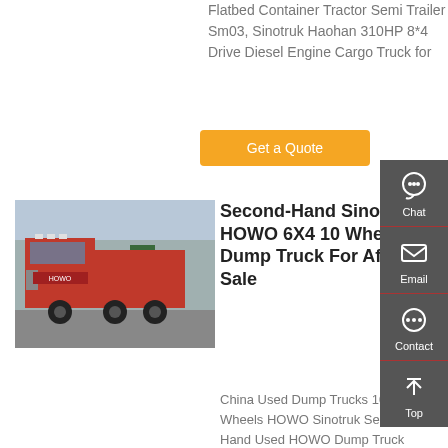Flatbed Container Tractor Semi Trailer Sm03, Sinotruk Haohan 310HP 8*4 Drive Diesel Engine Cargo Truck for
Get a Quote
[Figure (photo): Red Sinotruk HOWO heavy duty tractor truck parked in a yard with other trucks visible in background]
Second-Hand Sinotruk HOWO 6X4 10 Wheel Dump Truck For Africa Sale
China Used Dump Trucks 10 Wheels HOWO Sinotruk Second Hand Used HOWO Dump Truck 10 Wheels 6X4 Second Hand
Chat
Email
Contact
Top